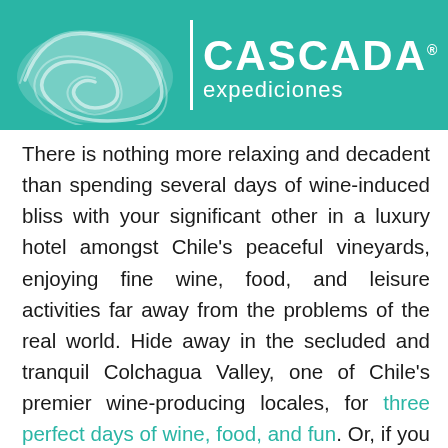[Figure (logo): Cascada Expediciones logo on teal background with spiral shell graphic on left and CASCADA expediciones text on right]
There is nothing more relaxing and decadent than spending several days of wine-induced bliss with your significant other in a luxury hotel amongst Chile's peaceful vineyards, enjoying fine wine, food, and leisure activities far away from the problems of the real world. Hide away in the secluded and tranquil Colchagua Valley, one of Chile's premier wine-producing locales, for three perfect days of wine, food, and fun. Or, if you crave a little adventure and thrills, pair your wine getaway with a ski trip! The wine valleys are just a short drive from the cosmopolitan streets of